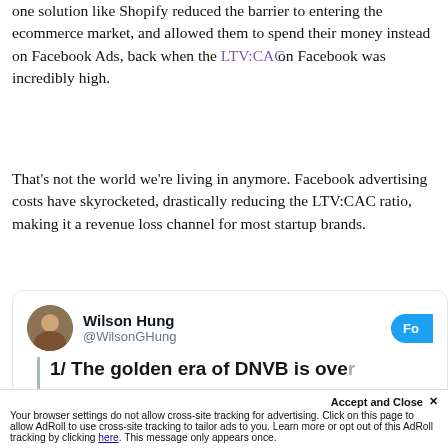one solution like Shopify reduced the barrier to entering the ecommerce market, and allowed them to spend their money instead on Facebook Ads, back when the LTV:CAC on Facebook was incredibly high.
That's not the world we're living in anymore. Facebook advertising costs have skyrocketed, drastically reducing the LTV:CAC ratio, making it a revenue loss channel for most startup brands.
[Figure (screenshot): Tweet card from Wilson Hung (@WilsonGHung) with a Follow button, showing the beginning of a tweet: '1/ The golden era of DNVB is ove...' with a vertical blue line on the left of the tweet body.]
Accept and Close ×
Your browser settings do not allow cross-site tracking for advertising. Click on this page to allow AdRoll to use cross-site tracking to tailor ads to you. Learn more or opt out of this AdRoll tracking by clicking here. This message only appears once.